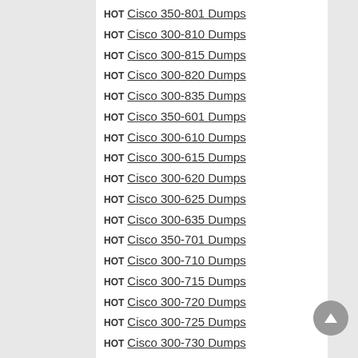HOT Cisco 350-801 Dumps
HOT Cisco 300-810 Dumps
HOT Cisco 300-815 Dumps
HOT Cisco 300-820 Dumps
HOT Cisco 300-835 Dumps
HOT Cisco 350-601 Dumps
HOT Cisco 300-610 Dumps
HOT Cisco 300-615 Dumps
HOT Cisco 300-620 Dumps
HOT Cisco 300-625 Dumps
HOT Cisco 300-635 Dumps
HOT Cisco 350-701 Dumps
HOT Cisco 300-710 Dumps
HOT Cisco 300-715 Dumps
HOT Cisco 300-720 Dumps
HOT Cisco 300-725 Dumps
HOT Cisco 300-730 Dumps
HOT Cisco 300-735 Dumps